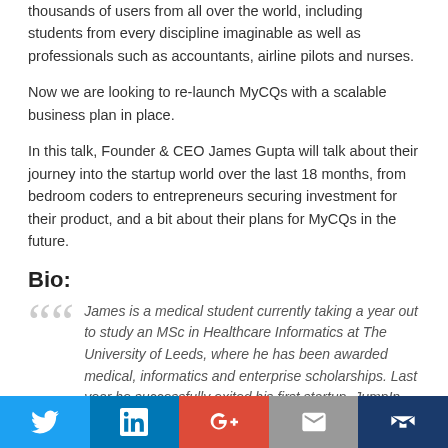thousands of users from all over the world, including students from every discipline imaginable as well as professionals such as accountants, airline pilots and nurses.
Now we are looking to re-launch MyCQs with a scalable business plan in place.
In this talk, Founder & CEO James Gupta will talk about their journey into the startup world over the last 18 months, from bedroom coders to entrepreneurs securing investment for their product, and a bit about their plans for MyCQs in the future.
Bio:
James is a medical student currently taking a year out to study an MSc in Healthcare Informatics at The University of Leeds, where he has been awarded medical, informatics and enterprise scholarships. Last year he successfully exited his first startup, JumpIn (jumpinstudent.co.uk) after serving as Chief Technical
Twitter LinkedIn G+ Email Mail